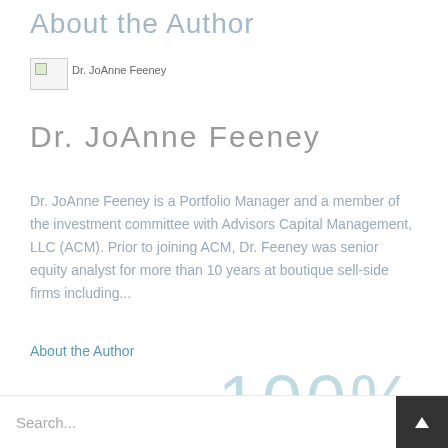About the Author
[Figure (photo): Broken image placeholder labeled 'Dr. JoAnne Feeney']
Dr. JoAnne Feeney
Dr. JoAnne Feeney is a Portfolio Manager and a member of the investment committee with Advisors Capital Management, LLC (ACM). Prior to joining ACM, Dr. Feeney was senior equity analyst for more than 10 years at boutique sell-side firms including...
About the Author
100%
Search...